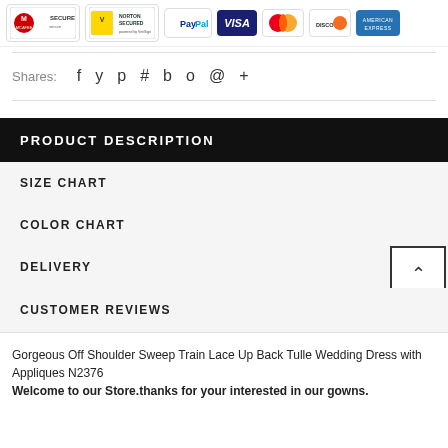[Figure (logo): Payment and security logos: McAfee Secure, Norton Secured by VeriSign, PayPal, Visa, Mastercard, Discover, American Express]
Shares:
[Figure (infographic): Social sharing icons: Facebook, Twitter, Pinterest, Google+, Fancy, Polyvore, Email, More (+)]
PRODUCT DESCRIPTION
SIZE CHART
COLOR CHART
DELIVERY
CUSTOMER REVIEWS
Gorgeous Off Shoulder Sweep Train Lace Up Back Tulle Wedding Dress with Appliques N2376
Welcome to our Store.thanks for your interested in our gowns.